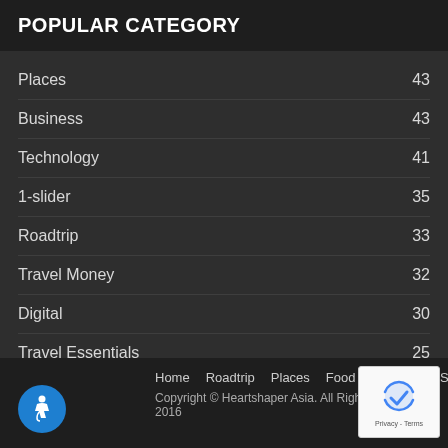POPULAR CATEGORY
Places 43
Business 43
Technology 41
1-slider 35
Roadtrip 33
Travel Money 32
Digital 30
Travel Essentials 25
Network 22
Home  Roadtrip  Places  Food  Wellness  Savings  Copyright © Heartshaper Asia. All Rights Reserved 2016